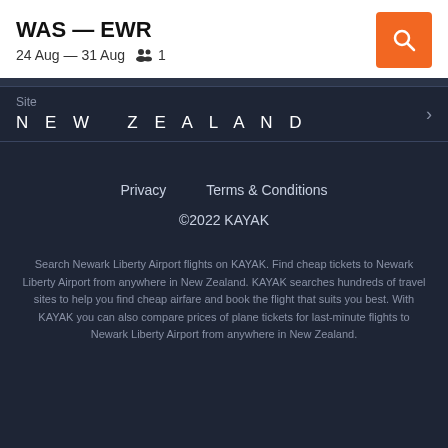WAS — EWR
24 Aug — 31 Aug   1
Site
NEW ZEALAND
Privacy   Terms & Conditions
©2022 KAYAK
Search Newark Liberty Airport flights on KAYAK. Find cheap tickets to Newark Liberty Airport from anywhere in New Zealand. KAYAK searches hundreds of travel sites to help you find cheap airfare and book the flight that suits you best. With KAYAK you can also compare prices of plane tickets for last-minute flights to Newark Liberty Airport from anywhere in New Zealand.